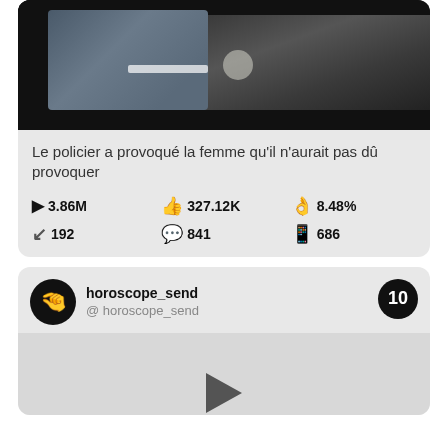[Figure (photo): Car window photo showing vehicle interior/exterior, dark background with car frame elements]
Le policier a provoqué la femme qu'il n'aurait pas dû provoquer
▶ 3.86M  👍327.12K  🤙8.48%  ↙192  💬841  🟢686
horoscope_send
@ horoscope_send
[Figure (screenshot): Social media post from horoscope_send account with badge 10, showing a video thumbnail with play button]